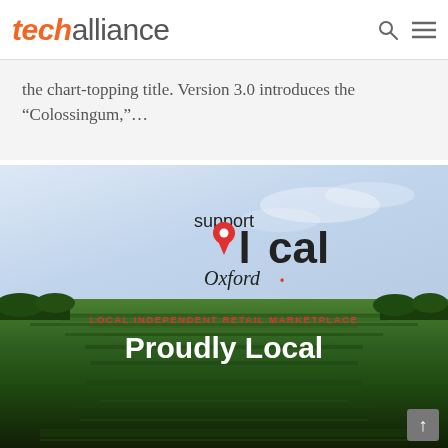techalliance
the chart-topping title. Version 3.0 introduces the “Colossingum,”…
[Figure (photo): Support Local Oxford banner image with logo on sky background and farm field photo below, with text 'LOCAL INDEPENDENT RETAIL MARKETPLACE' in red and 'Proudly Local' in white]